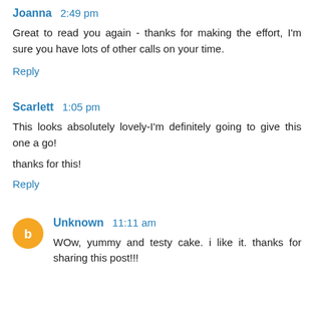Joanna 2:49 pm
Great to read you again - thanks for making the effort, I'm sure you have lots of other calls on your time.
Reply
Scarlett 1:05 pm
This looks absolutely lovely-I'm definitely going to give this one a go!
thanks for this!
Reply
Unknown 11:11 am
WOw, yummy and testy cake. i like it. thanks for sharing this post!!!